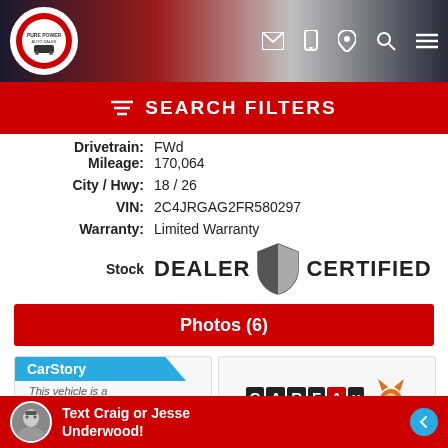[Figure (screenshot): Website header banner with American flag background, dealer logo, navigation icons (email, phone, location, search, menu)]
SEARCH FILTERS
Drivetrain: FWD
Mileage: 170,064
City / Hwy: 18 / 26
VIN: 2C4JRGAG2FR580297
Warranty: Limited Warranty
[Figure (logo): Dealer Certified shield badge with text DEALER CERTIFIED]
Photos (6)
[Figure (infographic): CarStory card: This vehicle is a GOOD DEAL]
[Figure (logo): CARFAX logo with fox mascot]
Text Craig or Jesse Underwood!